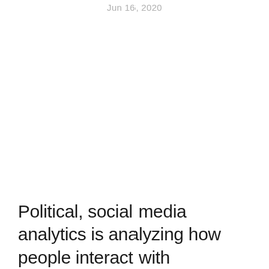Jun 16, 2020
Political, social media analytics is analyzing how people interact with political content through the